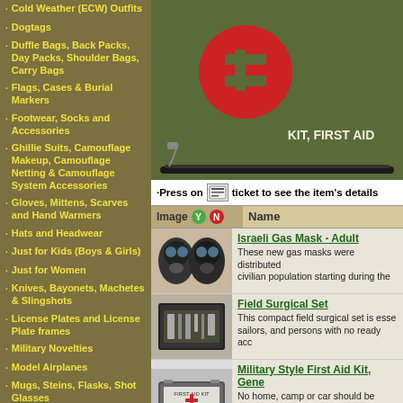Cold Weather (ECW) Outfits
Dogtags
Duffle Bags, Back Packs, Day Packs, Shoulder Bags, Carry Bags
Flags, Cases & Burial Markers
Footwear, Socks and Accessories
Ghillie Suits, Camouflage Makeup, Camouflage Netting & Camouflage System Accessories
Gloves, Mittens, Scarves and Hand Warmers
Hats and Headwear
Just for Kids (Boys & Girls)
Just for Women
Knives, Bayonets, Machetes & Slingshots
License Plates and License Plate frames
Military Novelties
Model Airplanes
Mugs, Steins, Flasks, Shot Glasses
Navigation Products: Compasses
Optical Products, Night Vision, Binoculars, Sunglasses, Goggles
Patches, Pins, Insignia,
[Figure (photo): Military style first aid kit (KIT, FIRST AID) in olive drab canvas case with red cross]
Press on ticket to see the item's details
| Image Y N | Name |
| --- | --- |
| [gas mask image] | Israeli Gas Mask - Adult
These new gas masks were distributed civilian population starting during the |
| [field surgical set image] | Field Surgical Set
This compact field surgical set is esse sailors, and persons with no ready acc |
| [first aid kit image] | Military Style First Aid Kit, Gene
No home, camp or car should be witho first aid kit. Packed in a heavy plastic c |
| [tactical trauma kit image] | Tactical Trauma Kit |